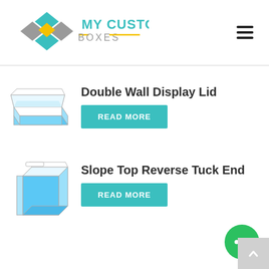[Figure (logo): My Custom Boxes logo with colorful diamond shapes and teal/yellow text]
Double Wall Display Lid
[Figure (illustration): Illustration of a blue double wall display lid box, open]
READ MORE
Slope Top Reverse Tuck End
[Figure (illustration): Illustration of a blue slope top reverse tuck end box]
READ MORE